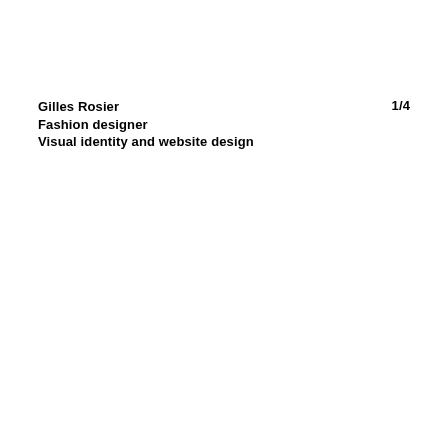Gilles Rosier
Fashion designer
Visual identity and website design
1/4